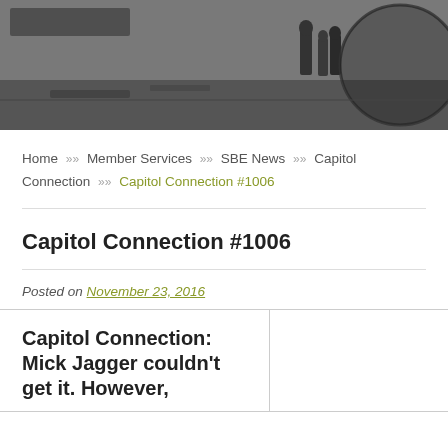[Figure (photo): Black and white header banner photo showing people in an outdoor setting, partially cropped with a circular graphic element on the right side.]
Home >> Member Services >> SBE News >> Capitol Connection >> Capitol Connection #1006
Capitol Connection #1006
Posted on November 23, 2016
Capitol Connection: Mick Jagger couldn't get it. However,